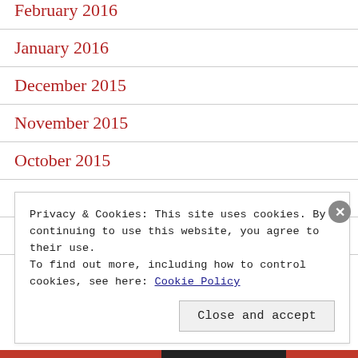February 2016
January 2016
December 2015
November 2015
October 2015
September 2015
August 2015
Privacy & Cookies: This site uses cookies. By continuing to use this website, you agree to their use. To find out more, including how to control cookies, see here: Cookie Policy